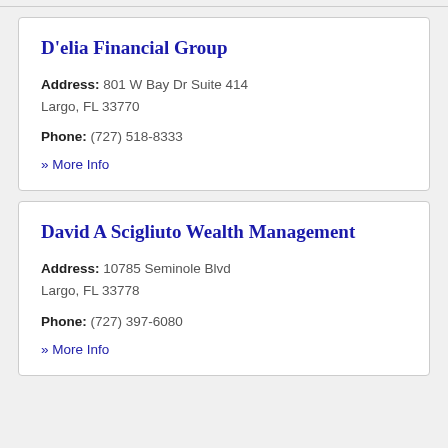D'elia Financial Group
Address: 801 W Bay Dr Suite 414 Largo, FL 33770
Phone: (727) 518-8333
» More Info
David A Scigliuto Wealth Management
Address: 10785 Seminole Blvd Largo, FL 33778
Phone: (727) 397-6080
» More Info